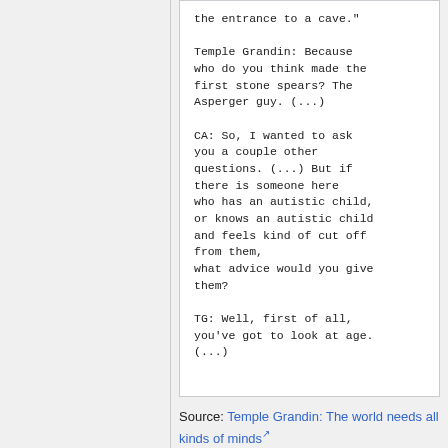the entrance to a cave."

Temple Grandin: Because who do you think made the first stone spears? The Asperger guy. (...)

CA: So, I wanted to ask you a couple other questions. (...) But if there is someone here who has an autistic child, or knows an autistic child and feels kind of cut off from them,
what advice would you give them?

TG: Well, first of all, you've got to look at age. (...)
Source: Temple Grandin: The world needs all kinds of minds